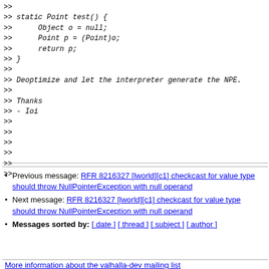>> 
>> static Point test() {
>>      Object o = null;
>>      Point p = (Point)o;
>>      return p;
>> }
>>
>> Deoptimize and let the interpreter generate the NPE.
>>
>> Thanks
>> - Ioi
>>
>>
>>
>>
>>
>>
Previous message: RFR 8216327 [lworld][c1] checkcast for value type should throw NullPointerException with null operand
Next message: RFR 8216327 [lworld][c1] checkcast for value type should throw NullPointerException with null operand
Messages sorted by: [ date ] [ thread ] [ subject ] [ author ]
More information about the valhalla-dev mailing list